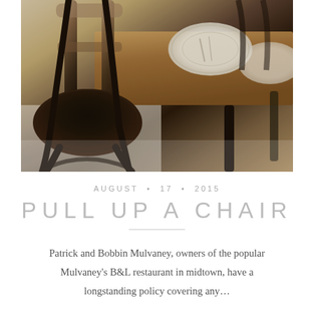[Figure (photo): Close-up photograph of dark metal bistro chairs with rounded seats at a wooden restaurant table, with white circular placemats visible on the table surface. Warm, slightly desaturated tones.]
AUGUST • 17 • 2015
PULL UP A CHAIR
Patrick and Bobbin Mulvaney, owners of the popular Mulvaney's B&L restaurant in midtown, have a longstanding policy covering any...